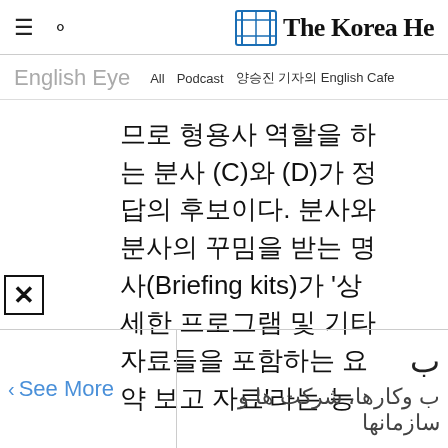The Korea He(rald) — navigation header with menu, search, and logo
English Eye  All  Podcast  양승진 기자의 English Cafe
므로 형용사 역할을 하는 분사 (C)와 (D)가 정답의 후보이다. 분사와 분사의 꾸밈을 받는 명사(Briefing kits)가 '상세한 프로그램 및 기타 자료들을 포함하는 요약 보고 자료'라는 능
See More
ب وکارها، شرکت ها و سازمانها